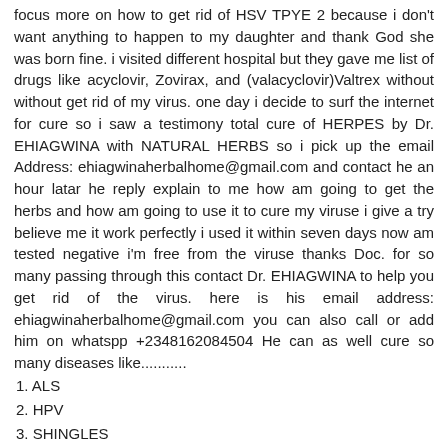focus more on how to get rid of HSV TPYE 2 because i don't want anything to happen to my daughter and thank God she was born fine. i visited different hospital but they gave me list of drugs like acyclovir, Zovirax, and (valacyclovir)Valtrex without without get rid of my virus. one day i decide to surf the internet for cure so i saw a testimony total cure of HERPES by Dr. EHIAGWINA with NATURAL HERBS so i pick up the email Address: ehiagwinaherbalhome@gmail.com and contact he an hour latar he reply explain to me how am going to get the herbs and how am going to use it to cure my viruse i give a try believe me it work perfectly i used it within seven days now am tested negative i'm free from the viruse thanks Doc. for so many passing through this contact Dr. EHIAGWINA to help you get rid of the virus. here is his email address: ehiagwinaherbalhome@gmail.com you can also call or add him on whatspp +2348162084504 He can as well cure so many diseases like...........
1. ALS
2. HPV
3. SHINGLES
4. CANCER